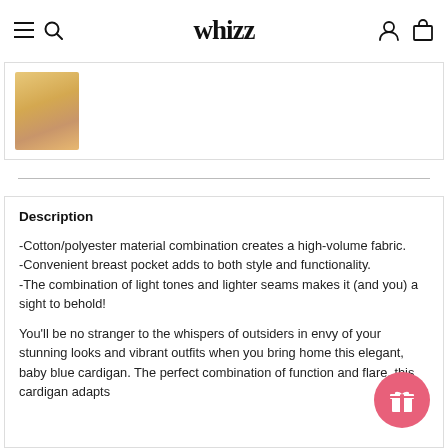whizz
[Figure (photo): Thumbnail image of a person wearing a baby blue cardigan]
Description
-Cotton/polyester material combination creates a high-volume fabric.
-Convenient breast pocket adds to both style and functionality.
-The combination of light tones and lighter seams makes it (and you) a sight to behold!
You'll be no stranger to the whispers of outsiders in envy of your stunning looks and vibrant outfits when you bring home this elegant, baby blue cardigan. The perfect combination of function and flare, this cardigan adapts